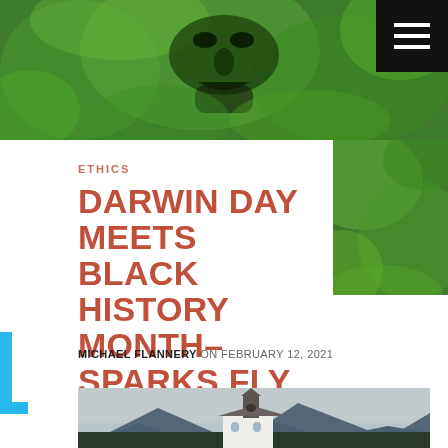[Figure (photo): Top banner image showing a green-tinted face/portrait artwork against a lush green background, with a black hamburger menu button in the top right corner.]
[Figure (photo): Right side decorative image panel — continuation of the green botanical/face artwork.]
ETHICS
DARWIN DAY MEETS BLACK HISTORY MONTH– SPARKS FLY
MICHAEL FLANNERY ON FEBRUARY 12, 2021
[Figure (photo): Bottom image showing a white church with a steeple, set against mountains and forest with a grey overcast sky.]